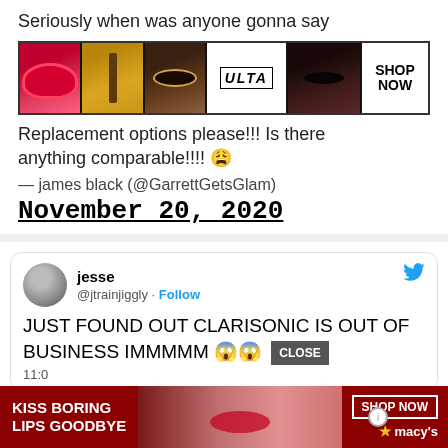Seriously when was anyone gonna say
[Figure (screenshot): Ulta Beauty advertisement banner showing makeup images including lips, brush, eyes, Ulta logo, and woman's face with 'SHOP NOW' button]
Replacement options please!!! Is there anything comparable!!!! 😩
— james black (@GarrettGetsGlam)
November 20, 2020
[Figure (screenshot): Tweet by jesse @jtrainjiggly: JUST FOUND OUT CLARISONIC IS OUT OF BUSINESS IMMMMM 😱😱 with CLOSE button overlay]
[Figure (screenshot): Macy's advertisement banner: KISS BORING LIPS GOODBYE with SHOP NOW button and Macy's star logo]